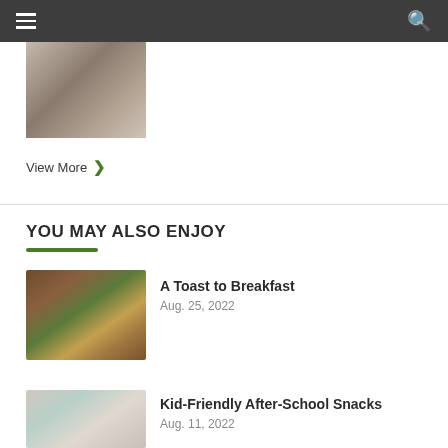Navigation bar with menu and search icons
[Figure (photo): Partial image of hands/arms resting, cropped at top]
View More ›
YOU MAY ALSO ENJOY
[Figure (photo): Assorted toast with various toppings including egg, avocado, and meat on a wooden board]
A Toast to Breakfast
Aug. 25, 2022
[Figure (photo): Woman in kitchen, kid-friendly after-school snacks article image]
Kid-Friendly After-School Snacks
Aug. 11, 2022